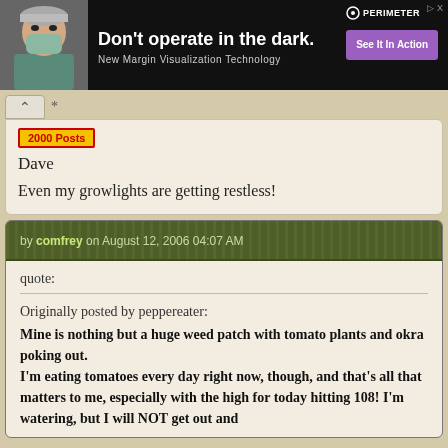[Figure (photo): Banner advertisement: doctor in surgical mask on dark background. Text reads 'Don't operate in the dark.' with subtext 'New Margin Visualization Technology' and a purple button 'See It In Action'. Perimeter logo in top right.]
Dave
Even my growlights are getting restless!
by comfrey on August 12, 2006 04:07 AM
quote:
Originally posted by peppereater:
Mine is nothing but a huge weed patch with tomato plants and okra poking out.
I'm eating tomatoes every day right now, though, and that's all that matters to me, especially with the high for today hitting 108! I'm watering, but I will NOT get out and